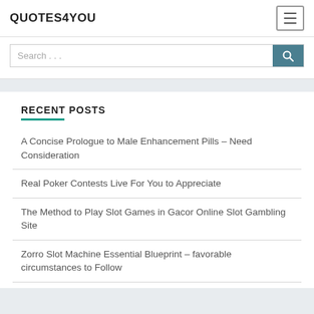QUOTES4YOU
Search ...
RECENT POSTS
A Concise Prologue to Male Enhancement Pills – Need Consideration
Real Poker Contests Live For You to Appreciate
The Method to Play Slot Games in Gacor Online Slot Gambling Site
Zorro Slot Machine Essential Blueprint – favorable circumstances to Follow